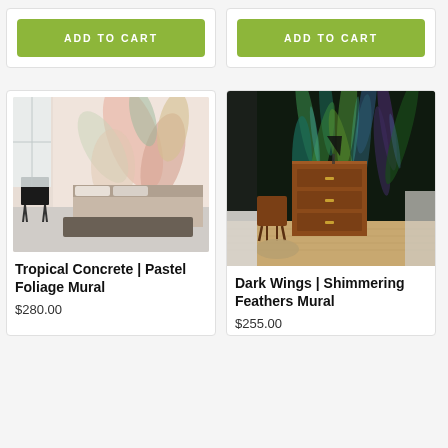[Figure (screenshot): E-commerce product grid showing two partial product cards at top with 'ADD TO CART' buttons, and two full product cards below showing wall murals with product names and prices.]
ADD TO CART
ADD TO CART
Tropical Concrete | Pastel Foliage Mural
$280.00
Dark Wings | Shimmering Feathers Mural
$255.00